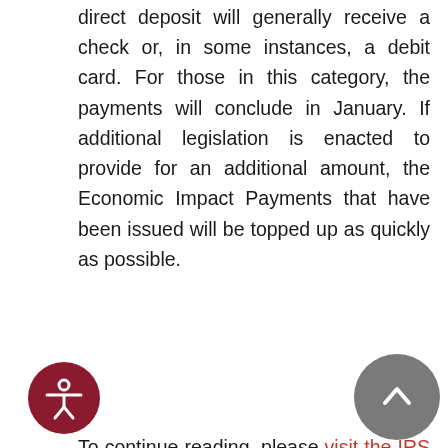direct deposit will generally receive a check or, in some instances, a debit card. For those in this category, the payments will conclude in January. If additional legislation is enacted to provide for an additional amount, the Economic Impact Payments that have been issued will be topped up as quickly as possible.
To continue reading, please visit the IRS website. Additional guidance and eligibility requirements are provided.
Mail Larceny is on the Rise